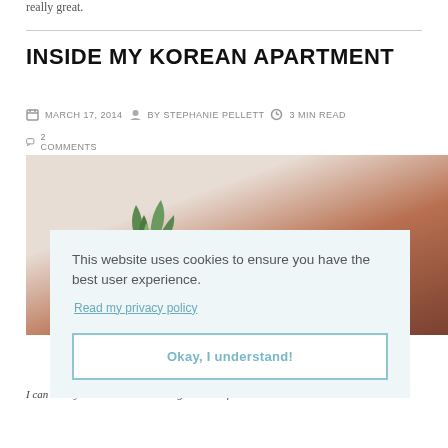really great.
INSIDE MY KOREAN APARTMENT
MARCH 17, 2014  BY STEPHANIE PELLETT  3 MIN READ
2 COMMENTS
[Figure (photo): Photo of a Korean apartment interior showing a wooden surface, succulent plant, and partial text overlay 'MY']
This website uses cookies to ensure you have the best user experience. Read my privacy policy. Okay, I understand!
I can hardly believe I've been living in Korea for a week